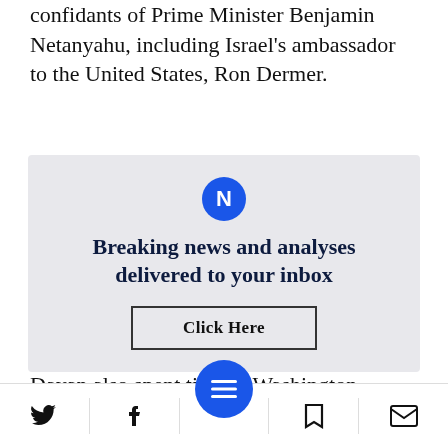confidants of Prime Minister Benjamin Netanyahu, including Israel's ambassador to the United States, Ron Dermer.
[Figure (infographic): Newsletter signup box with Newsweek logo icon, headline 'Breaking news and analyses delivered to your inbox', and a 'Click Here' button]
Dayan also spent time in Washington, where
Bottom navigation bar with Twitter, Facebook, menu, bookmark, and email icons